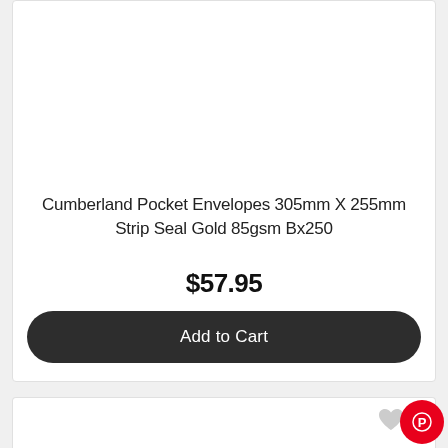Cumberland Pocket Envelopes 305mm X 255mm Strip Seal Gold 85gsm Bx250
$57.95
Add to Cart